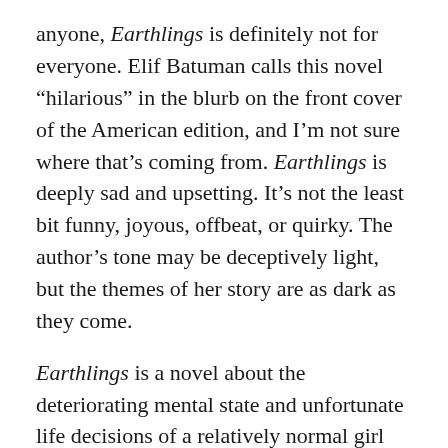anyone, Earthlings is definitely not for everyone. Elif Batuman calls this novel “hilarious” in the blurb on the front cover of the American edition, and I’m not sure where that’s coming from. Earthlings is deeply sad and upsetting. It’s not the least bit funny, joyous, offbeat, or quirky. The author’s tone may be deceptively light, but the themes of her story are as dark as they come.

Earthlings is a novel about the deteriorating mental state and unfortunate life decisions of a relatively normal girl named Natsuki who is made to feel that she isn’t human because of the sustained abuse she receives at the hands of her parents and teachers. The point of the story